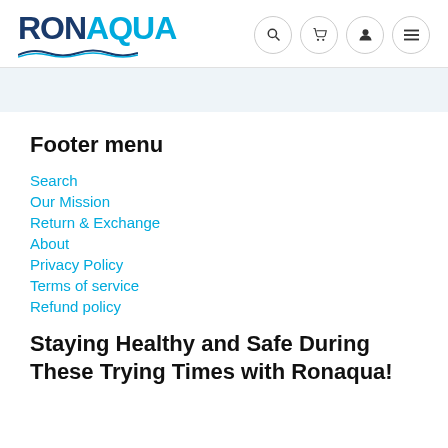RONAQUA [logo with navigation icons: search, cart, user, menu]
Footer menu
Search
Our Mission
Return & Exchange
About
Privacy Policy
Terms of service
Refund policy
Staying Healthy and Safe During These Trying Times with Ronaqua!